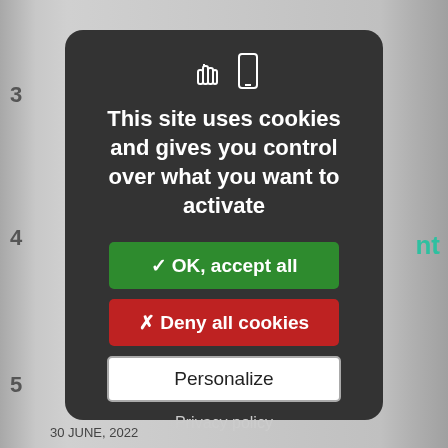[Figure (screenshot): Cookie consent modal dialog on a dark rounded background with icons, accept/deny/personalize buttons, and privacy policy link]
This site uses cookies and gives you control over what you want to activate
✓ OK, accept all
✗ Deny all cookies
Personalize
Privacy policy
30 JUNE, 2022